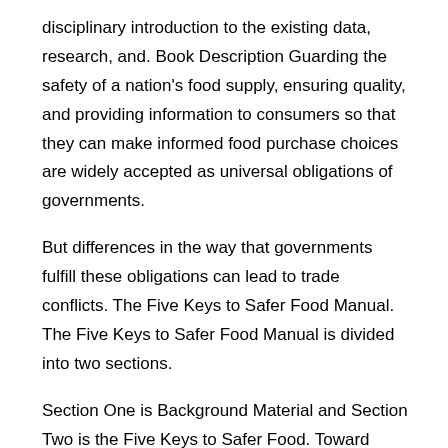disciplinary introduction to the existing data, research, and. Book Description Guarding the safety of a nation's food supply, ensuring quality, and providing information to consumers so that they can make informed food purchase choices are widely accepted as universal obligations of governments.
But differences in the way that governments fulfill these obligations can lead to trade conflicts. The Five Keys to Safer Food Manual. The Five Keys to Safer Food Manual is divided into two sections.
Section One is Background Material and Section Two is the Five Keys to Safer Food. Toward Safer Food book Two elaborates the core food safety information provided in the WHO Five Keys to Safer Food poster and suggests how to communicate these messages.
U.S. Food and Drug Administration. Center for Food Safety and Applied Nutrition. Outreach and Information Center. Campus Drive, HFS College Park, MD SAFEFOOD ( The Jungle is a novel by the American journalist and novelist Upton Sinclair (–).
Sinclair wrote the novel to portray the harsh conditions and exploited